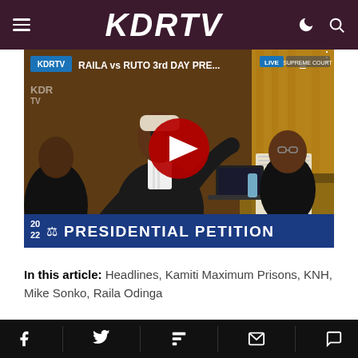KDRTV
[Figure (screenshot): YouTube video thumbnail showing courtroom scene with lawyer in robes arguing, title 'RAILA vs RUTO 3rd DAY PRE...' with LIVE SUPREME COURT badge, Presidential Petition lower-third banner, year 2022]
In this article: Headlines, Kamiti Maximum Prisons, KNH, Mike Sonko, Raila Odinga
Social share icons: Facebook, Twitter, Flipboard, Email, Comment